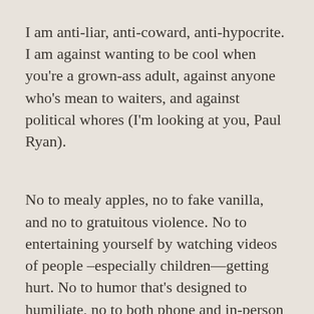I am anti-liar, anti-coward, anti-hypocrite. I am against wanting to be cool when you're a grown-ass adult, against anyone who's mean to waiters, and against political whores (I'm looking at you, Paul Ryan).
No to mealy apples, no to fake vanilla, and no to gratuitous violence. No to entertaining yourself by watching videos of people –especially children—getting hurt. No to humor that's designed to humiliate, no to both phone and in-person soliciting. Yes to romance, lake swimming, being up late at night. Yes to